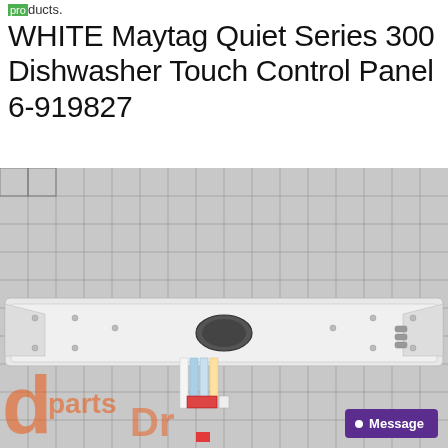products.
WHITE Maytag Quiet Series 300 Dishwasher Touch Control Panel 6-919827
[Figure (photo): White Maytag Quiet Series 300 Dishwasher Touch Control Panel part number 6-919827, shown against a grey grid background. The panel is a long white plastic component with wire connectors. A partial watermark logo for a parts retailer is visible at the bottom left. A purple 'Message' button appears at the bottom right.]
Message